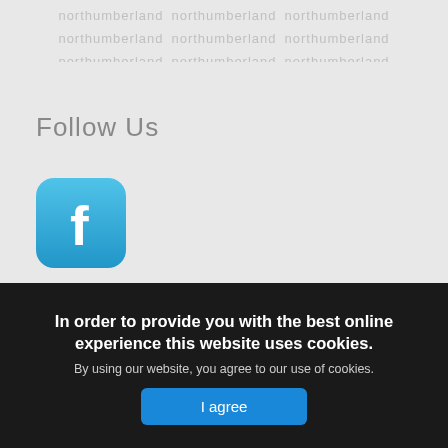[Figure (screenshot): Top banner with faded repeated text watermark on light gray background]
Follow Us
[Figure (logo): Facebook icon - blue rounded square with white letter f]
In order to provide you with the best online experience this website uses cookies.
By using our website, you agree to our use of cookies.
I agree